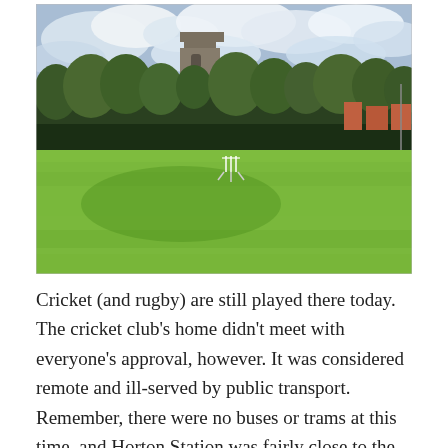[Figure (photo): A cricket ground with green grass pitch in the foreground, cricket stumps visible near centre, trees and a stone church tower in the background against a partly cloudy sky.]
Cricket (and rugby) are still played there today. The cricket club's home didn't meet with everyone's approval, however. It was considered remote and ill-served by public transport. Remember, there were no buses or trams at this time, and Horton Station was fairly close to the ground.